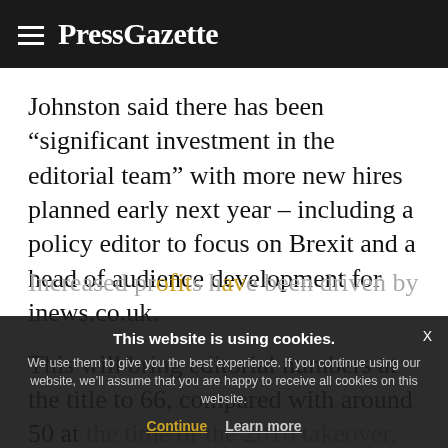PressGazette
Johnston said there has been “significant investment in the editorial team” with more new hires planned early next year – including a policy editor to focus on Brexit and a head of audience development for inews.co.uk.
This will bring editorial numbers at the title to 66, compared with around 50 at the time of the 2016 takeover.
Increased profits have been driven by
This website is using cookies. We use them to give you the best experience. If you continue using our website, we’ll assume that you are happy to receive all cookies on this website. Continue | Learn more